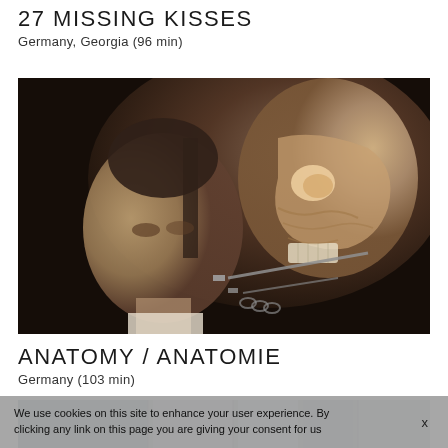27 MISSING KISSES
Germany, Georgia (96 min)
[Figure (photo): A woman with hair pulled back looks to the side next to an anatomical model of a human head showing muscles and skull, against a dark background.]
ANATOMY / ANATOMIE
Germany (103 min)
[Figure (photo): Partial view of another film image, showing a light/grey outdoor or interior scene, cropped at bottom of page.]
We use cookies on this site to enhance your user experience. By clicking any link on this page you are giving your consent for us